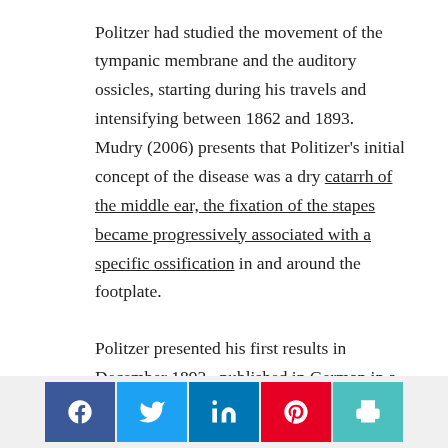Politzer had studied the movement of the tympanic membrane and the auditory ossicles, starting during his travels and intensifying between 1862 and 1893. Mudry (2006) presents that Politizer's initial concept of the disease was a dry catarrh of the middle ear, the fixation of the stapes became progressively associated with a specific ossification in and around the footplate.
Politzer presented his first results in December 1893, published in German in a journal he founded, the Zeitschrift für Ohrenheilkunde (Journal of Otology). His description of the primary disease of the bony labyrinthine capsule was supported by 16 anatomopathologic temporal bone dissections. This
[Figure (infographic): Social sharing buttons bar: Facebook (blue), Twitter (light blue), LinkedIn (dark blue), Pinterest (red), Print (teal)]